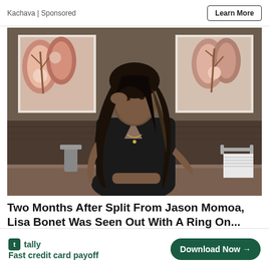Kachava | Sponsored
[Figure (photo): Woman with long wavy dark hair wearing a black outfit, leaning against a counter in a hotel bathroom. Two framed floral artwork pictures hang on the wall behind her.]
Two Months After Split From Jason Momoa, Lisa Bonet Was Seen Out With A Ring On...
Following her split with Jason Momoa, Lisa Bonet was
[Figure (logo): Tally app advertisement banner — green logo icon, brand name 'tally', tagline 'Fast credit card payoff', and a green 'Download Now' button with arrow.]